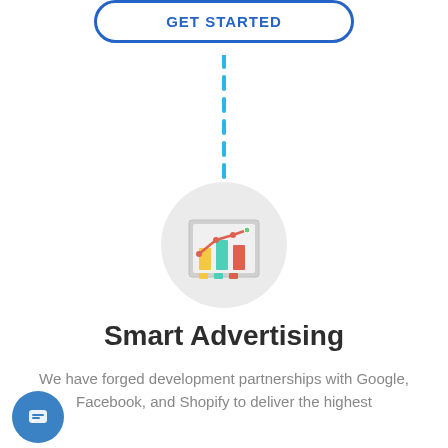[Figure (other): Blue rounded rectangle button outline with text GET STARTED at top of page]
[Figure (other): Vertical dashed blue line connecting elements]
[Figure (illustration): Light gray circle containing a colorful bar chart icon with a line graph overlay — bars in yellow, teal, and red/orange, line graph in red/orange on top]
Smart Advertising
We have forged development partnerships with Google, Facebook, and Shopify to deliver the highest